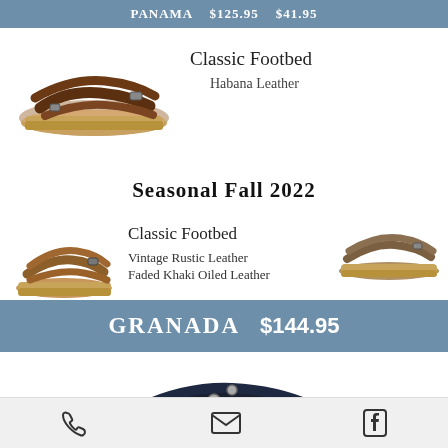PANAMA   $125.95   $41.95
[Figure (photo): Brown leather Birkenstock sandal - Classic Footbed, Habana Leather]
Classic Footbed
Habana Leather
Seasonal Fall 2022
[Figure (photo): Brown vintage rustic leather Birkenstock sandal]
[Figure (photo): Khaki oiled leather Birkenstock sandal]
Classic Footbed
Vintage Rustic Leather
Faded Khaki Oiled Leather
Granada   $144.95
[Figure (photo): Dark blue/black Birkenstock sandal with buckle straps]
Phone | Email | Facebook